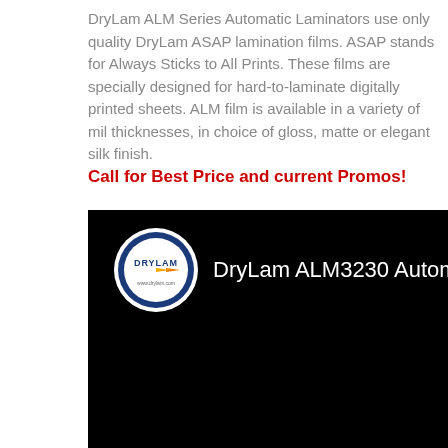DryLam ALM Series Automatic Laminators use only quality DryLam ASAP lamination films. ASAP stands for Always Sticks to All Prints. These films are specially designed for hard-to-laminate digitally printed sheets. ALM film is available in a variety of mil thicknesses, in choice of gloss, matte or elegant silk finish.
Call for Best Price and current Promos!
[Figure (screenshot): Black video thumbnail with DryLam circular logo on left and text 'DryLam ALM3230 Automatic Laminator' in white on black background]